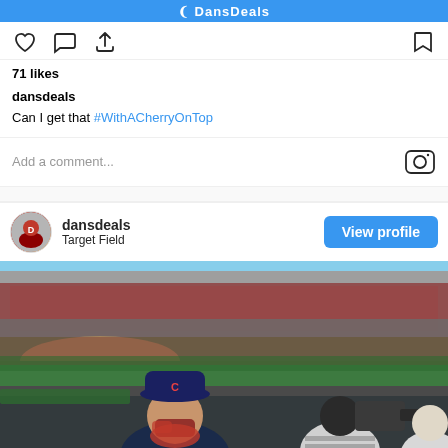DansDeals
71 likes
dansdeals Can I get that #WithACherryOnTop
Add a comment...
dansdeals Target Field
[Figure (photo): Person wearing a Cleveland Indians hat and face mask/sunglasses, seated at a baseball stadium (Target Field), with a packed crowd in the stands, TV camera crew nearby, and the baseball field visible in the background.]